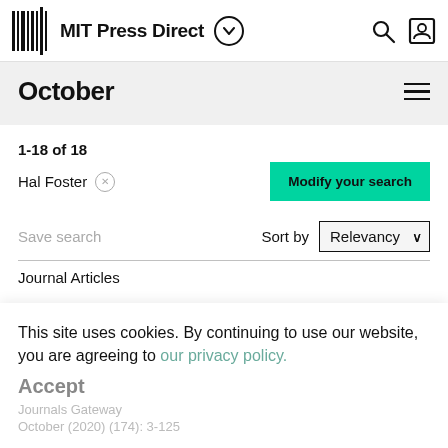MIT Press Direct
October
1-18 of 18
Hal Foster
Modify your search
Save search   Sort by   Relevancy
Journal Articles
This site uses cookies. By continuing to use our website, you are agreeing to our privacy policy.
Accept